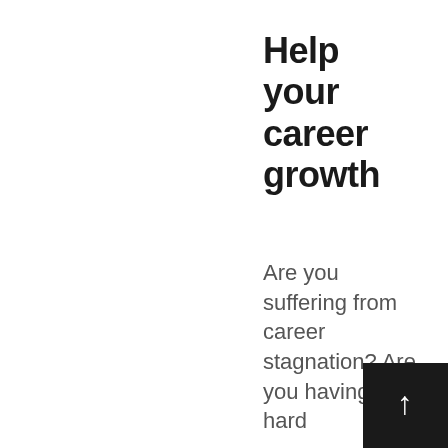Help your career growth
Are you suffering from career stagnation? Are you having a hard
[Figure (other): Black square button with white upward arrow icon]